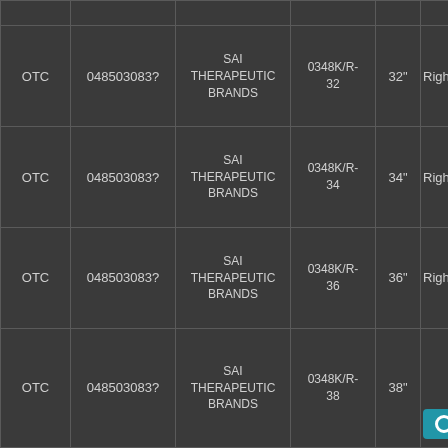| Type | NDC | Brand | Size/Code | Size | Side |
| --- | --- | --- | --- | --- | --- |
| OTC | 048503083? | SAI THERAPEUTIC BRANDS | 0348K/R-32 | 32" | Right |
| OTC | 048503083? | SAI THERAPEUTIC BRANDS | 0348K/R-34 | 34" | Right |
| OTC | 048503083? | SAI THERAPEUTIC BRANDS | 0348K/R-36 | 36" | Right |
| OTC | 048503083? | SAI THERAPEUTIC BRANDS | 0348K/R-38 | 38" |  |